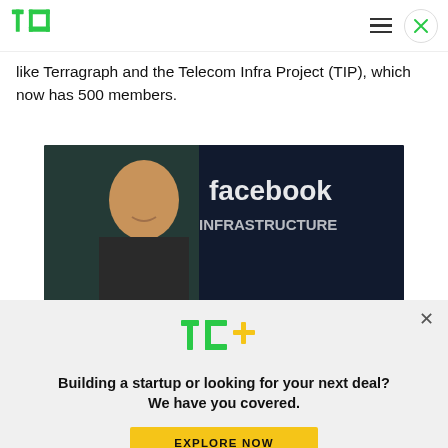TechCrunch logo and navigation
like Terragraph and the Telecom Infra Project (TIP), which now has 500 members.
[Figure (photo): A smiling bald man in front of a dark background with 'facebook infrastructure' text visible]
[Figure (logo): TechCrunch TC+ logo]
Building a startup or looking for your next deal? We have you covered.
EXPLORE NOW